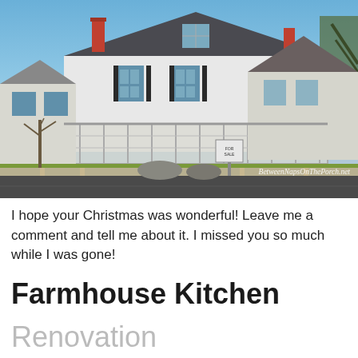[Figure (photo): Exterior photo of large white New England-style farmhouse with screened porch, taken in winter. Other houses visible in background. A real estate sign stands in the front yard. Clear blue sky. Road in foreground. Watermark reads BetweenNapsOnThePorch.net]
I hope your Christmas was wonderful! Leave me a comment and tell me about it. I missed you so much while I was gone!
Farmhouse Kitchen
Renovation